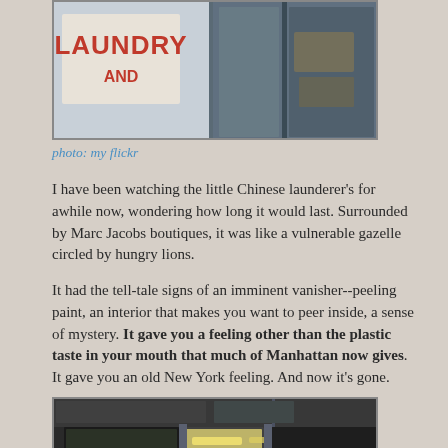[Figure (photo): Photo of a Chinese laundry storefront, showing a sign with 'LAUNDRY AND' in red letters on a light background, with a dark interior/window area on the right.]
photo: my flickr
I have been watching the little Chinese launderer's for awhile now, wondering how long it would last. Surrounded by Marc Jacobs boutiques, it was like a vulnerable gazelle circled by hungry lions.
It had the tell-tale signs of an imminent vanisher--peeling paint, an interior that makes you want to peer inside, a sense of mystery. It gave you a feeling other than the plastic taste in your mouth that much of Manhattan now gives. It gave you an old New York feeling. And now it's gone.
[Figure (photo): Photo of the Chinese laundry storefront entrance — glass doors with a 'LAUNDRY' sign in red at the bottom, lit interior with fluorescent lights visible through the glass, items/products visible inside.]